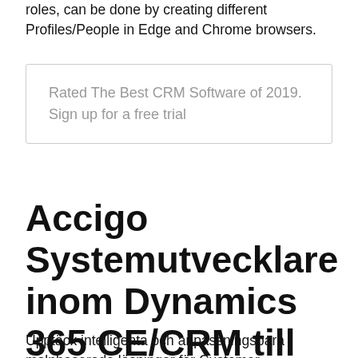roles, can be done by creating different Profiles/People in Edge and Chrome browsers.
Rated The Best CRM Software of 2019. Sign up for a free trial
Accigo Systemutvecklare inom Dynamics 365 CE/CRM till
Upptäck intelligenta och anpassningsbara molnbaserade lösningar för Customer Relationship